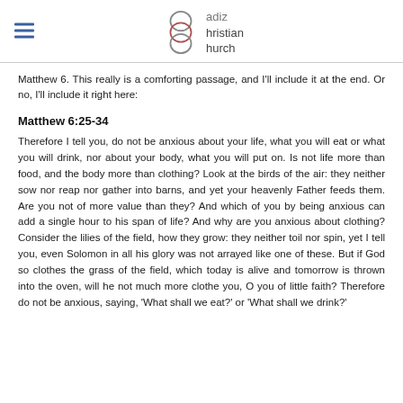Cadiz Christian Church
Matthew 6. This really is a comforting passage, and I'll include it at the end. Or no, I'll include it right here:
Matthew 6:25-34
Therefore I tell you, do not be anxious about your life, what you will eat or what you will drink, nor about your body, what you will put on. Is not life more than food, and the body more than clothing? Look at the birds of the air: they neither sow nor reap nor gather into barns, and yet your heavenly Father feeds them. Are you not of more value than they? And which of you by being anxious can add a single hour to his span of life? And why are you anxious about clothing? Consider the lilies of the field, how they grow: they neither toil nor spin, yet I tell you, even Solomon in all his glory was not arrayed like one of these. But if God so clothes the grass of the field, which today is alive and tomorrow is thrown into the oven, will he not much more clothe you, O you of little faith? Therefore do not be anxious, saying, 'What shall we eat?' or 'What shall we drink?'